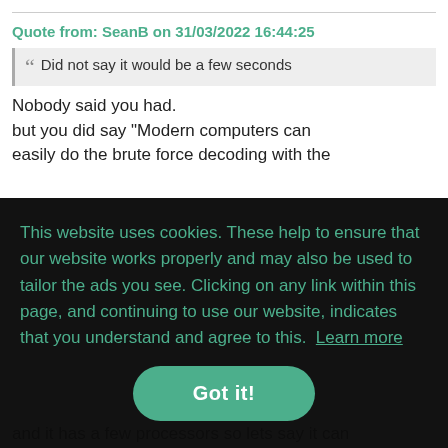Quote from: SeanB on 31/03/2022 16:44:25
Did not say it would be a few seconds
Nobody said you had.
but you did say "Modern computers can easily do the brute force decoding with the
This website uses cookies. These help to ensure that our website works properly and may also be used to tailor the ads you see. Clicking on any link within this page, and continuing to use our website, indicates that you understand and agree to this.  Learn more
Got it!
and it has a few processors so lets say it can